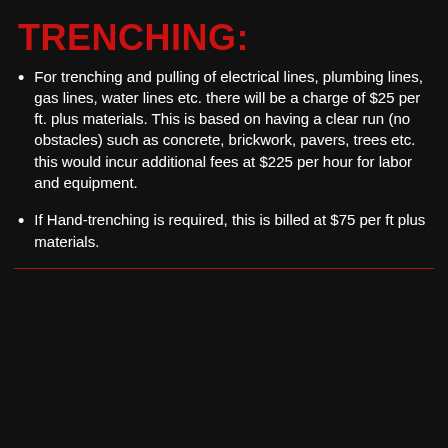TRENCHING:
For trenching and pulling of electrical lines, plumbing lines, gas lines, water lines etc. there will be a charge of $25 per ft. plus materials. This is based on having a clear run (no obstacles) such as concrete, brickwork, pavers, trees etc. this would incur additional fees at $225 per hour for labor and equipment.
If Hand-trenching is required, this is billed at $75 per ft plus materials.